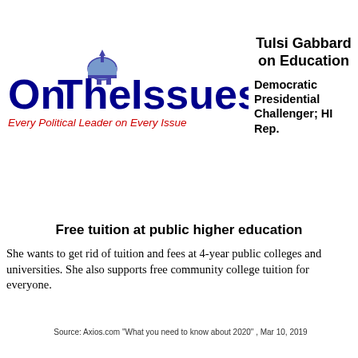[Figure (logo): OnTheIssues logo with dome icon and tagline 'Every Political Leader on Every Issue']
Tulsi Gabbard on Education
Democratic Presidential Challenger; HI Rep.
Free tuition at public higher education
She wants to get rid of tuition and fees at 4-year public colleges and universities. She also supports free community college tuition for everyone.
Source: Axios.com "What you need to know about 2020" , Mar 10, 2019